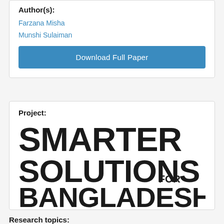Author(s):
Farzana Misha
Munshi Sulaiman
Download Full Paper
Project:
[Figure (logo): Smarter Solutions for Bangladesh logo in large bold black text]
Research topics: